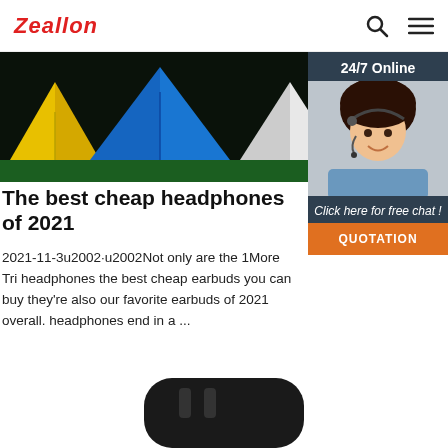Zeallon
[Figure (photo): Outdoor camping scene with colorful tents (yellow, blue, white) on green grass at night]
[Figure (photo): Sidebar widget with '24/7 Online' header, customer service agent photo wearing headset, 'Click here for free chat!' text, and orange QUOTATION button]
The best cheap headphones of 2021
2021-11-3u2002·u2002Not only are the 1More Tri headphones the best cheap earbuds you can buy they're also our favorite earbuds of 2021 overall. headphones end in a ...
[Figure (photo): Dark black product (headphones or earbuds) partially visible at bottom of page]
Get Price